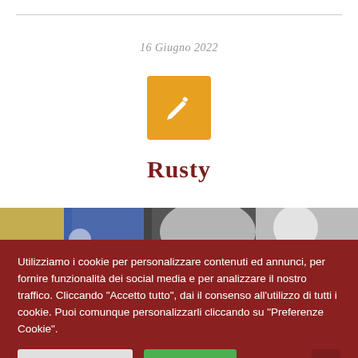16 Giugno 2022
[Figure (illustration): Orange square icon with a white pencil/edit symbol]
Rusty
[Figure (photo): Partial photo showing what appears to be soccer/sports gear — blue and white elements, a ball visible]
Utilizziamo i cookie per personalizzare contenuti ed annunci, per fornire funzionalità dei social media e per analizzare il nostro traffico. Cliccando "Accetto tutto", dai il consenso all'utilizzo di tutti i cookie. Puoi comunque personalizzarli cliccando su "Preferenze Cookie".
Preferenze Cookie
Accetto tutti